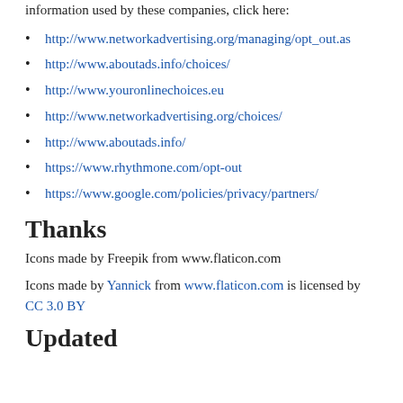information used by these companies, click here:
http://www.networkadvertising.org/managing/opt_out.as
http://www.aboutads.info/choices/
http://www.youronlinechoices.eu
http://www.networkadvertising.org/choices/
http://www.aboutads.info/
https://www.rhythmone.com/opt-out
https://www.google.com/policies/privacy/partners/
Thanks
Icons made by Freepik from www.flaticon.com
Icons made by Yannick from www.flaticon.com is licensed by CC 3.0 BY
Updated